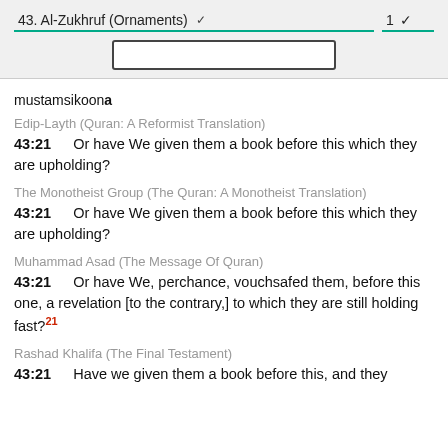43. Al-Zukhruf (Ornaments)   1
mustamsikoona
Edip-Layth (Quran: A Reformist Translation)
43:21   Or have We given them a book before this which they are upholding?
The Monotheist Group (The Quran: A Monotheist Translation)
43:21   Or have We given them a book before this which they are upholding?
Muhammad Asad (The Message Of Quran)
43:21   Or have We, perchance, vouchsafed them, before this one, a revelation [to the contrary,] to which they are still holding fast?21
Rashad Khalifa (The Final Testament)
43:21   Have we given them a book before this, and they